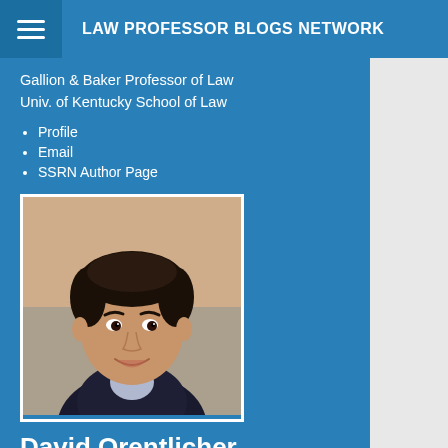LAW PROFESSOR BLOGS NETWORK
Gallion & Baker Professor of Law
Univ. of Kentucky School of Law
Profile
Email
SSRN Author Page
[Figure (photo): Headshot of David Orentlicher, a man with dark curly hair smiling, wearing a dark blazer and light blue shirt, with a blurred outdoor background]
David Orentlicher
Samuel R. Rosen Professor
Co-director, Hall Center for Law and Health